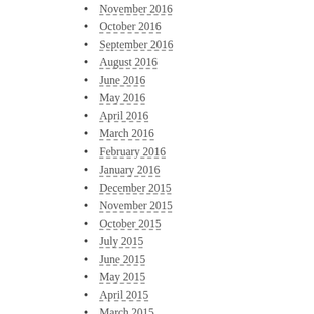November 2016
October 2016
September 2016
August 2016
June 2016
May 2016
April 2016
March 2016
February 2016
January 2016
December 2015
November 2015
October 2015
July 2015
June 2015
May 2015
April 2015
March 2015